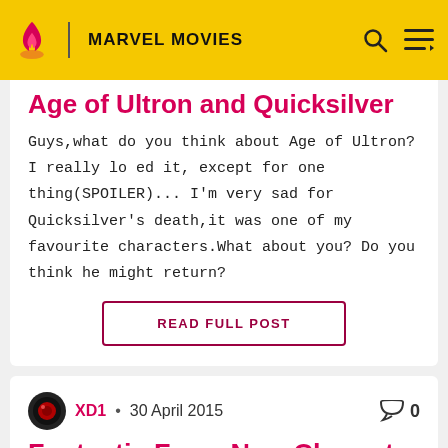MARVEL MOVIES
Age of Ultron and Quicksilver
Guys,what do you think about Age of Ultron? I really lo ed it, except for one thing(SPOILER)... I'm very sad for Quicksilver's death,it was one of my favourite characters.What about you? Do you think he might return?
READ FULL POST
XD1 • 30 April 2015   0
Fantastic Four: New Character Posters